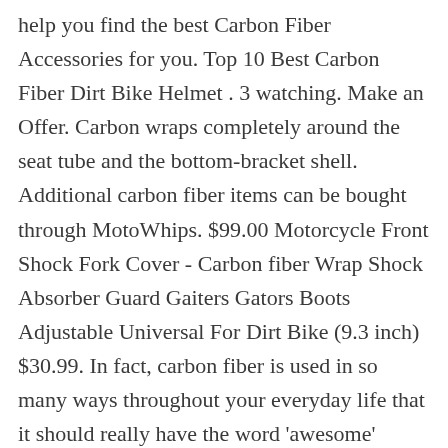help you find the best Carbon Fiber Accessories for you. Top 10 Best Carbon Fiber Dirt Bike Helmet . 3 watching. Make an Offer. Carbon wraps completely around the seat tube and the bottom-bracket shell. Additional carbon fiber items can be bought through MotoWhips. $99.00 Motorcycle Front Shock Fork Cover - Carbon fiber Wrap Shock Absorber Guard Gaiters Gators Boots Adjustable Universal For Dirt Bike (9.3 inch) $30.99. In fact, carbon fiber is used in so many ways throughout your everyday life that it should really have the word 'awesome' attached to it anytime you see it. After a soapy wash and rinse, wiping a dihydrogene-monoxide imbibed rag over the frame would probably be best. Working On Your Bike Here's where we see a lot of problems. these are 3M XPEL ULTIMATE 3D CARBON LOOK Carbon Fiber Registration Wrap $ 19.95